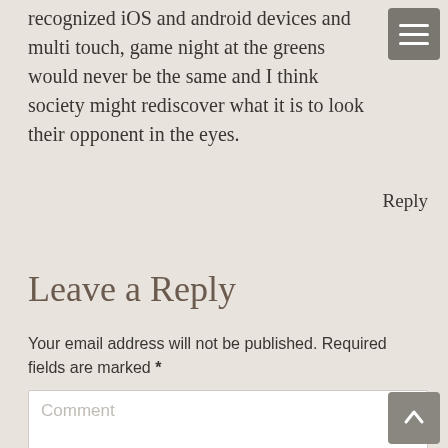recognized iOS and android devices and multi touch, game night at the greens would never be the same and I think society might rediscover what it is to look their opponent in the eyes.
Reply
Leave a Reply
Your email address will not be published. Required fields are marked *